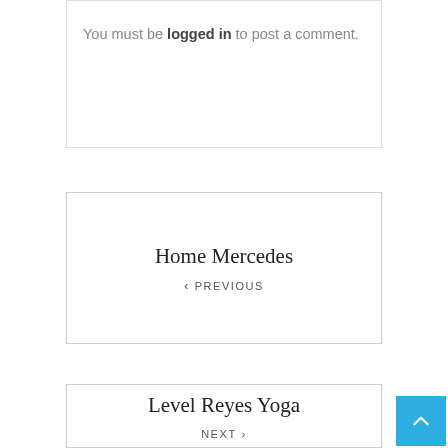You must be logged in to post a comment.
Home Mercedes
< PREVIOUS
Level Reyes Yoga
NEXT >